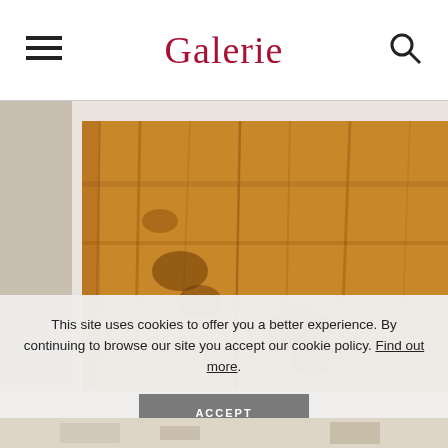Galerie
[Figure (photo): Close-up photo of wooden art panels/sculptures in a gallery setting. A warm honey-toned wood panel is prominent in the foreground, with lighter weathered wood pieces visible behind it against a cream wall.]
This site uses cookies to offer you a better experience. By continuing to browse our site you accept our cookie policy. Find out more.
ACCEPT